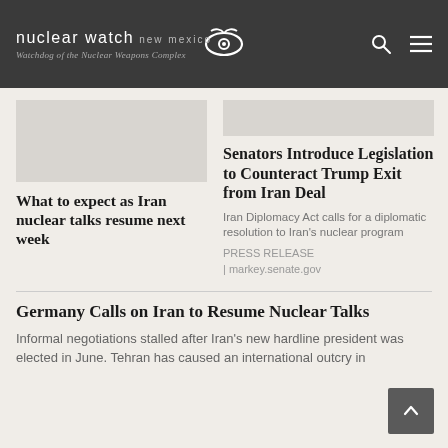nuclear watch new mexico — Watchdog of the Nuclear Weapons Complex
[Figure (illustration): Article thumbnail image placeholder for Iran nuclear talks article]
What to expect as Iran nuclear talks resume next week
[Figure (illustration): Article thumbnail image placeholder for Senators legislation article]
Senators Introduce Legislation to Counteract Trump Exit from Iran Deal
Iran Diplomacy Act calls for a diplomatic resolution to Iran's nuclear program
PRESS RELEASE | markey.senate.gov
Germany Calls on Iran to Resume Nuclear Talks
Informal negotiations stalled after Iran's new hardline president was elected in June. Tehran has caused an international outcry in